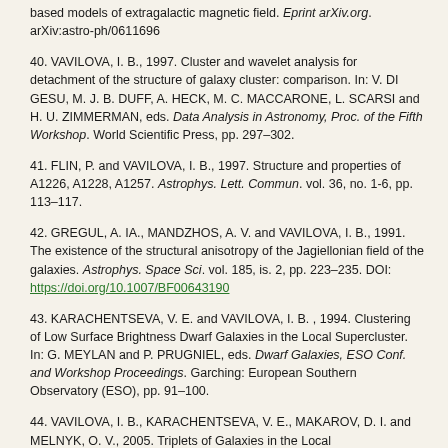based models of extragalactic magnetic field. Eprint arXiv.org. arXiv:astro-ph/0611696
40. VAVILOVA, I. B., 1997. Cluster and wavelet analysis for detachment of the structure of galaxy cluster: comparison. In: V. DI GESU, M. J. B. DUFF, A. HECK, M. C. MACCARONE, L. SCARSI and H. U. ZIMMERMAN, eds. Data Analysis in Astronomy, Proc. of the Fifth Workshop. World Scientific Press, pp. 297–302.
41. FLIN, P. and VAVILOVA, I. B., 1997. Structure and properties of A1226, A1228, A1257. Astrophys. Lett. Commun. vol. 36, no. 1-6, pp. 113–117.
42. GREGUL, A. IA., MANDZHOS, A. V. and VAVILOVA, I. B., 1991. The existence of the structural anisotropy of the Jagiellonian field of the galaxies. Astrophys. Space Sci. vol. 185, is. 2, pp. 223–235. DOI: https://doi.org/10.1007/BF00643190
43. KARACHENTSEVA, V. E. and VAVILOVA, I. B. , 1994. Clustering of Low Surface Brightness Dwarf Galaxies in the Local Supercluster. In: G. MEYLAN and P. PRUGNIEL, eds. Dwarf Galaxies, ESO Conf. and Workshop Proceedings. Garching: European Southern Observatory (ESO), pp. 91–100.
44. VAVILOVA, I. B., KARACHENTSEVA, V. E., MAKAROV, D. I. and MELNYK, O. V., 2005. Triplets of Galaxies in the Local